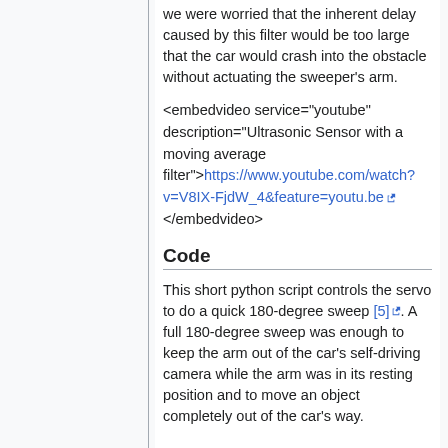we were worried that the inherent delay caused by this filter would be too large that the car would crash into the obstacle without actuating the sweeper's arm.
<embedvideo service="youtube" description="Ultrasonic Sensor with a moving average filter">https://www.youtube.com/watch?v=V8IX-FjdW_4&feature=youtu.be </embedvideo>
Code
This short python script controls the servo to do a quick 180-degree sweep [5]. A full 180-degree sweep was enough to keep the arm out of the car's self-driving camera while the arm was in its resting position and to move an object completely out of the car's way.